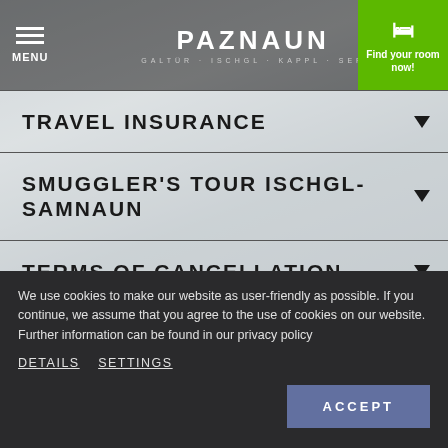PAZNAUN — ISCHGL GALTÜR KAPPL SER
TRAVEL INSURANCE
SMUGGLER'S TOUR ISCHGL-SAMNAUN
TERMS OF CANCELLATION
HIKING GUIDE & BIKING GUIDE
We use cookies to make our website as user-friendly as possible. If you continue, we assume that you agree to the use of cookies on our website. Further information can be found in our privacy policy
DETAILS  SETTINGS
ACCEPT